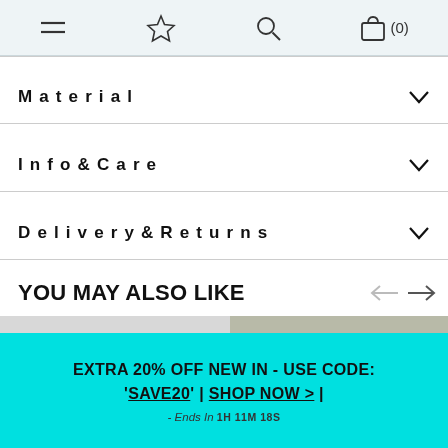Navigation bar with menu, wishlist, search, and bag (0) icons
Material
Info & Care
Delivery & Returns
YOU MAY ALSO LIKE
[Figure (photo): Two product images: a black crewneck sweatshirt on the left and an olive/khaki crewneck on the right]
EXTRA 20% OFF NEW IN - USE CODE: 'SAVE20' | SHOP NOW > | - Ends In 1H 11M 18S